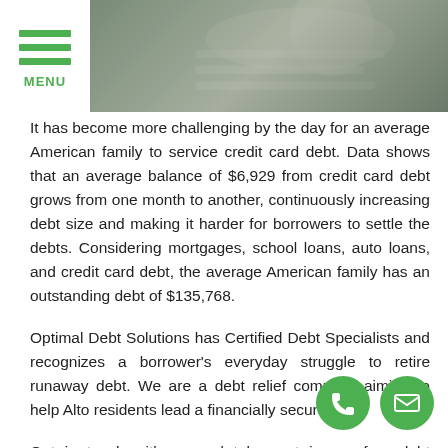[Figure (photo): Header photo showing hands writing on paper, partially obscured, with green hamburger menu icon and MENU label on the left side]
It has become more challenging by the day for an average American family to service credit card debt. Data shows that an average balance of $6,929 from credit card debt grows from one month to another, continuously increasing debt size and making it harder for borrowers to settle the debts. Considering mortgages, school loans, auto loans, and credit card debt, the average American family has an outstanding debt of $135,768.
Optimal Debt Solutions has Certified Debt Specialists and recognizes a borrower's everyday struggle to retire runaway debt. We are a debt relief company aiming to help Alto residents lead a financially secure life.
Get in touch with us and take part in our free debt evaluation to help you begin a new life of financial freedom.
Call Optimal Debt Solutions at (505) 257-7551 for...